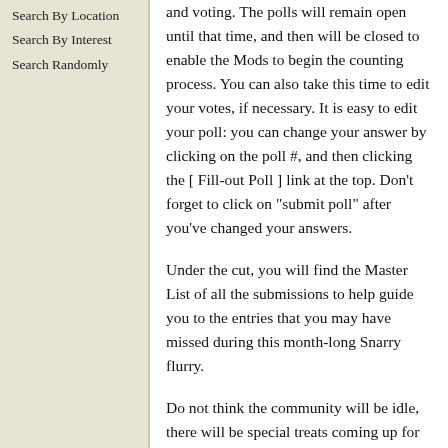Search By Location
Search By Interest
Search Randomly
and voting. The polls will remain open until that time, and then will be closed to enable the Mods to begin the counting process. You can also take this time to edit your votes, if necessary. It is easy to edit your poll: you can change your answer by clicking on the poll #, and then clicking the [ Fill-out Poll ] link at the top. Don't forget to click on "submit poll" after you've changed your answers.
Under the cut, you will find the Master List of all the submissions to help guide you to the entries that you may have missed during this month-long Snarry flurry.
Do not think the community will be idle, there will be special treats coming up for you. We were unable to organise our usual closing Games Drawbles this year,